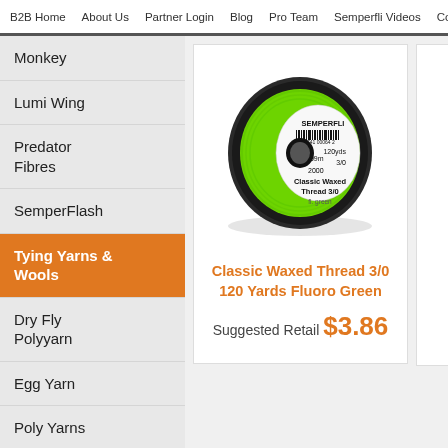B2B Home  About Us  Partner Login  Blog  Pro Team  Semperfli Videos  Contact Us  Trade Ac
Monkey
Lumi Wing
Predator Fibres
SemperFlash
Tying Yarns & Wools
Dry Fly Polyyarn
Egg Yarn
Poly Yarns
Synthetic Rabbit Zonkers
[Figure (photo): Spool of Semperfli Classic Waxed Thread 3/0 in Fluoro Green, 120 yards / 109m, barcode visible on white label]
Classic Waxed Thread 3/0 120 Yards Fluoro Green
Suggested Retail $3.86